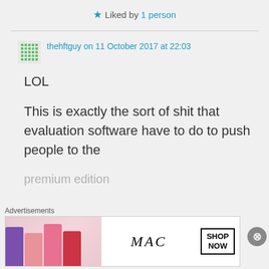★ Liked by 1 person
thehftguy on 11 October 2017 at 22:03
LOL
This is exactly the sort of shit that evaluation software have to do to push people to the premium edition
Advertisements
[Figure (photo): MAC cosmetics advertisement banner showing lipsticks with MAC logo and SHOP NOW button]